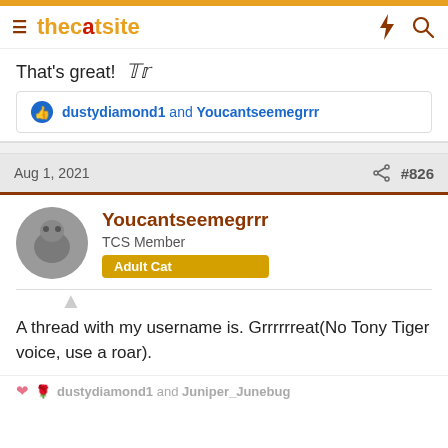thecatsite
That's great!
dustydiamond1 and Youcantseemegrrr
Aug 1, 2021   #826
Youcantseemegrrr
TCS Member
Adult Cat
A thread with my username is. Grrrrrreat(No Tony Tiger voice, use a roar).
dustydiamond1 and Juniper_Junebug